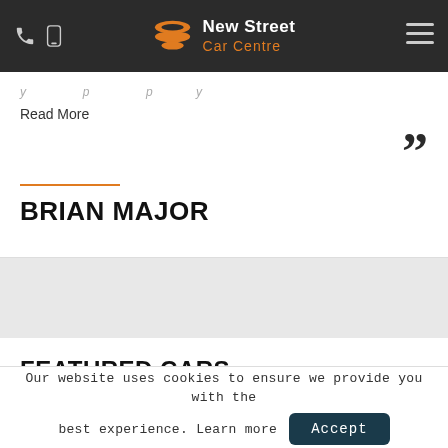New Street Car Centre
Read More
””
BRIAN MAJOR
FEATURED CARS
[Figure (photo): Partial photo showing blue sky with clouds, tree, and car dealership roof with a badge overlay reading 'MILES']
Our website uses cookies to ensure we provide you with the best experience. Learn more
Accept